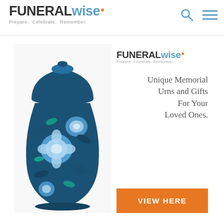FUNERAL wise — Prepare. Celebrate. Remember.
[Figure (infographic): FuneralWise advertisement banner featuring a decorative blue floral cloisonné memorial urn on the left, and on the right the FuneralWise logo, tagline 'Prepare. Celebrate. Remember.', text 'Unique Memorial Urns and Gifts For Your Loved Ones.', and an orange button reading 'VIEW HERE'.]